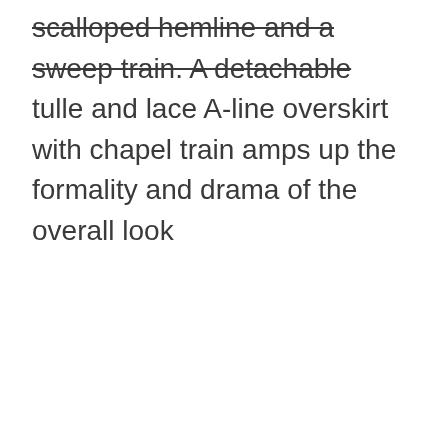scalloped hemline and a sweep train. A detachable tulle and lace A-line overskirt with chapel train amps up the formality and drama of the overall look